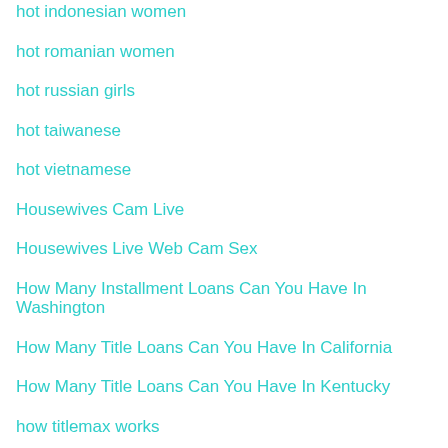hot indonesian women
hot romanian women
hot russian girls
hot taiwanese
hot vietnamese
Housewives Cam Live
Housewives Live Web Cam Sex
How Many Installment Loans Can You Have In Washington
How Many Title Loans Can You Have In California
How Many Title Loans Can You Have In Kentucky
how titlemax works